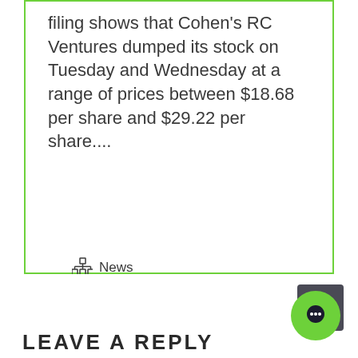filing shows that Cohen's RC Ventures dumped its stock on Tuesday and Wednesday at a range of prices between $18.68 per share and $29.22 per share....
News
Read More →
LEAVE A REPLY